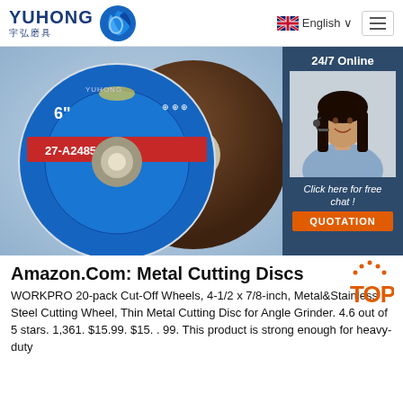[Figure (logo): YUHONG logo with Chinese characters 宇弘磨具 and blue wave/circle icon]
English ∨
[Figure (photo): Product photo of metal cutting discs (grinding wheels) labeled 6'' and 27-A2485BF on blue background with industrial background. Overlaid with a 24/7 Online chat widget showing a customer service representative and QUOTATION button.]
Amazon.Com: Metal Cutting Discs
WORKPRO 20-pack Cut-Off Wheels, 4-1/2 x 7/8-inch, Metal&Stainless Steel Cutting Wheel, Thin Metal Cutting Disc for Angle Grinder. 4.6 out of 5 stars. 1,361. $15.99. $15. . 99. This product is strong enough for heavy-duty